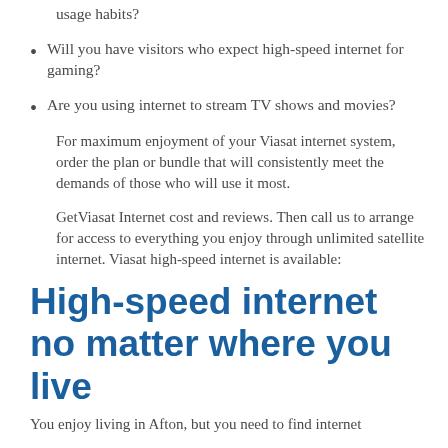usage habits?
Will you have visitors who expect high-speed internet for gaming?
Are you using internet to stream TV shows and movies?
For maximum enjoyment of your Viasat internet system, order the plan or bundle that will consistently meet the demands of those who will use it most.
GetViasat Internet cost and reviews. Then call us to arrange for access to everything you enjoy through unlimited satellite internet. Viasat high-speed internet is available:
High-speed internet no matter where you live
You enjoy living in Afton, but you need to find internet